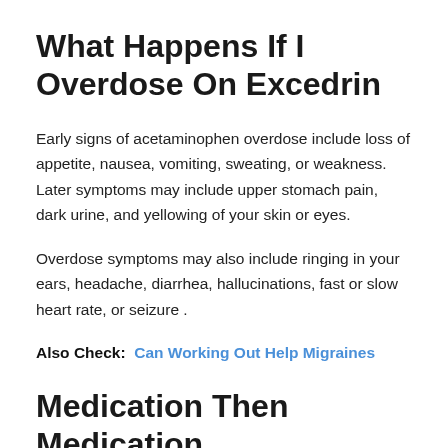What Happens If I Overdose On Excedrin
Early signs of acetaminophen overdose include loss of appetite, nausea, vomiting, sweating, or weakness. Later symptoms may include upper stomach pain, dark urine, and yellowing of your skin or eyes.
Overdose symptoms may also include ringing in your ears, headache, diarrhea, hallucinations, fast or slow heart rate, or seizure .
Also Check:  Can Working Out Help Migraines
Medication Then Medication Causes Headaches A Vici...